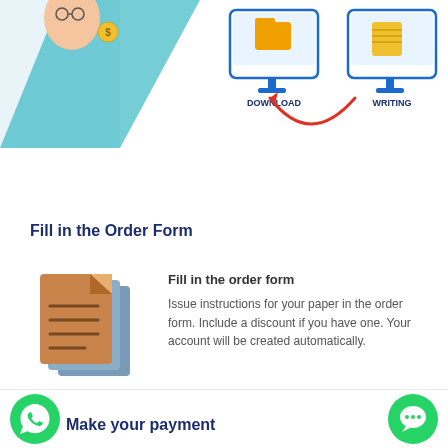[Figure (illustration): Top portion of an infographic showing two monitors with DOWNLOAD and WRITING labels and icons, connected by a red curved arrow. Partial view of a person on the left.]
Fill in the Order Form
[Figure (illustration): Stack of documents icon in brown/orange and blue colors representing an order form.]
Fill in the order form
Issue instructions for your paper in the order form. Include a discount if you have one. Your account will be created automatically.
Make your payment